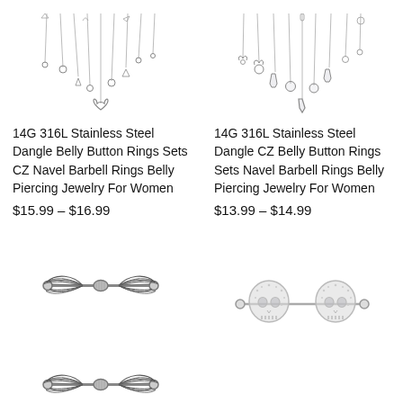[Figure (illustration): 14G 316L Stainless Steel dangle belly button rings set with CZ stones and heart charm, multiple dangling chains]
14G 316L Stainless Steel Dangle Belly Button Rings Sets CZ Navel Barbell Rings Belly Piercing Jewelry For Women
$15.99 – $16.99
[Figure (illustration): 14G 316L Stainless Steel dangle CZ belly button rings set with angel/butterfly charms and crystal drops]
14G 316L Stainless Steel Dangle CZ Belly Button Rings Sets Navel Barbell Rings Belly Piercing Jewelry For Women
$13.99 – $14.99
[Figure (illustration): Two stainless steel angel wing nipple barbells, straight barbell with wing charms on each end]
[Figure (illustration): Two stainless steel skull nipple barbells with CZ crystal pave skulls]